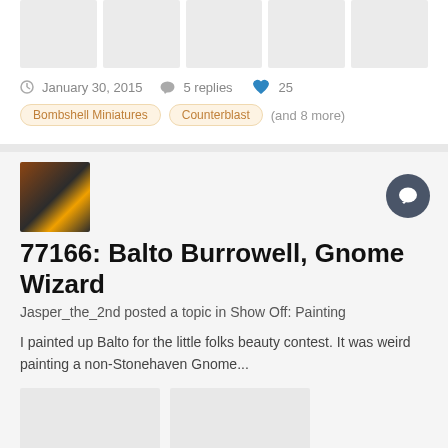[Figure (photo): Row of 5 gray placeholder image thumbnails]
January 30, 2015   5 replies   25
Bombshell Miniatures
Counterblast
(and 8 more)
[Figure (photo): Avatar thumbnail of a miniature figure with dark colors and yellow face]
77166: Balto Burrowell, Gnome Wizard
Jasper_the_2nd posted a topic in Show Off: Painting
I painted up Balto for the little folks beauty contest. It was weird painting a non-Stonehaven Gnome...
[Figure (photo): Two gray placeholder image thumbnails]
January 19, 2015   5 replies   24
Reaper
Bones
(and 2 more)